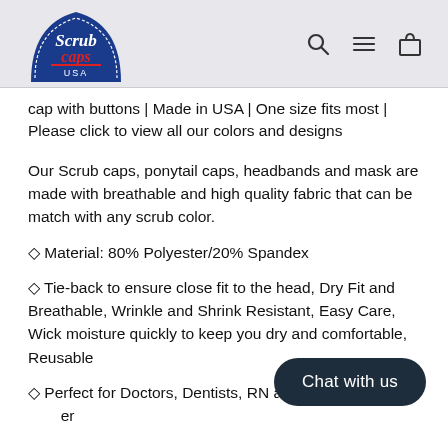Scrub Caps USA — navigation header with logo and search/menu/cart icons
cap with buttons | Made in USA | One size fits most | Please click to view all our colors and designs
Our Scrub caps, ponytail caps, headbands and mask are made with breathable and high quality fabric that can be match with any scrub color.
◇ Material: 80% Polyester/20% Spandex
◇ Tie-back to ensure close fit to the head, Dry Fit and Breathable, Wrinkle and Shrink Resistant, Easy Care, Wick moisture quickly to keep you dry and comfortable, Reusable
◇ Perfect for Doctors, Dentists, RN and any health care worker